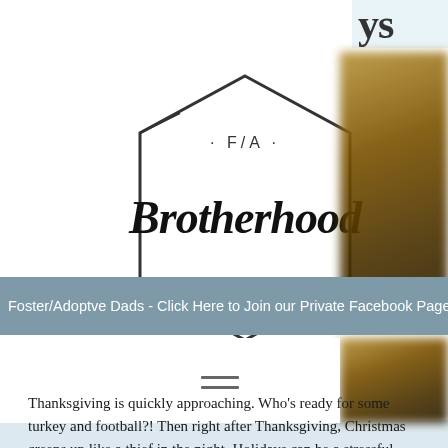ys
[Figure (logo): F/A Brotherhood logo — hexagonal shape with script text 'Brotherhood' and tagline 'ENGAGE. EQUIP. ENCOURAGE.']
Foster/Adoptve Dads - Click Here to Join our Private Facebook Page for M
[Figure (photo): Blurred dark amber/brown photo, partially cropped on right side]
Thanksgiving is quickly approaching. Who's ready for some turkey and football?! Then right after Thanksgiving, Christmas creeps up like a thief in the night. Holidays can be a stressful time for parents, especially